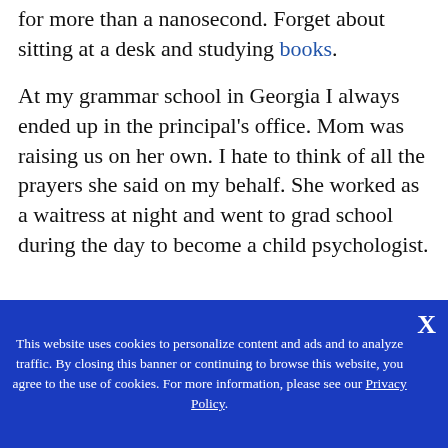for more than a nanosecond. Forget about sitting at a desk and studying books.
At my grammar school in Georgia I always ended up in the principal's office. Mom was raising us on her own. I hate to think of all the prayers she said on my behalf. She worked as a waitress at night and went to grad school during the day to become a child psychologist.
This website uses cookies to personalize content and ads and to analyze traffic. By closing this banner or continuing to browse this website, you agree to the use of cookies. For more information, please see our Privacy Policy.